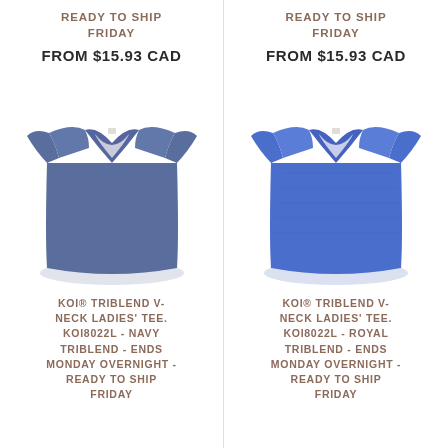READY TO SHIP FRIDAY
FROM $15.93 CAD
[Figure (photo): Navy triblend v-neck ladies' tee product photo]
KOI® TRIBLEND V-NECK LADIES' TEE. KOI8022L - NAVY TRIBLEND - ENDS MONDAY OVERNIGHT - READY TO SHIP FRIDAY
READY TO SHIP FRIDAY
FROM $15.93 CAD
[Figure (photo): Royal triblend v-neck ladies' tee product photo]
KOI® TRIBLEND V-NECK LADIES' TEE. KOI8022L - ROYAL TRIBLEND - ENDS MONDAY OVERNIGHT - READY TO SHIP FRIDAY